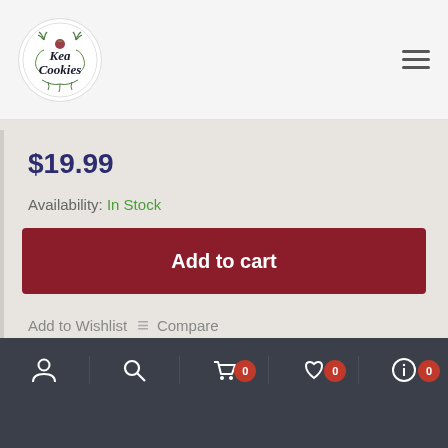[Figure (logo): Kea Cookies circular logo with decorative botanical design]
$19.99
Availability: In Stock
Add to cart
Add to Wishlist  ≡  Compare
[Figure (logo): Kea Cookies logo partial view in product image box]
[Figure (screenshot): Bottom navigation bar with user, search, cart (0), wishlist (0), and info (0) icons]